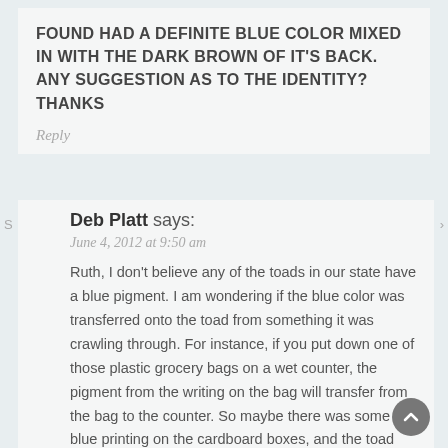FOUND HAD A DEFINITE BLUE COLOR MIXED IN WITH THE DARK BROWN OF IT'S BACK. ANY SUGGESTION AS TO THE IDENTITY? THANKS
Reply
Deb Platt says:
June 4, 2012 at 9:50 am
Ruth, I don't believe any of the toads in our state have a blue pigment. I am wondering if the blue color was transferred onto the toad from something it was crawling through. For instance, if you put down one of those plastic grocery bags on a wet counter, the pigment from the writing on the bag will transfer from the bag to the counter. So maybe there was some blue printing on the cardboard boxes, and the toad crawled through it. Or maybe there was some mold on the boxes (mold can have a bluish cast).